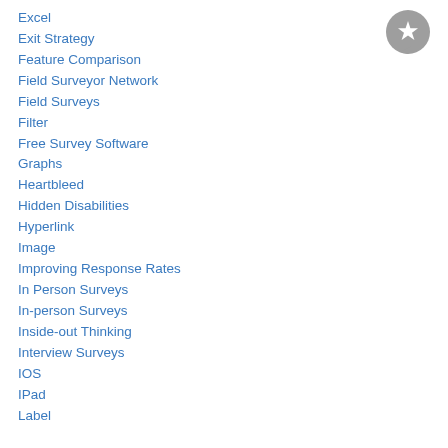[Figure (logo): Gray circular chat bubble icon with a white star inside]
Excel
Exit Strategy
Feature Comparison
Field Surveyor Network
Field Surveys
Filter
Free Survey Software
Graphs
Heartbleed
Hidden Disabilities
Hyperlink
Image
Improving Response Rates
In Person Surveys
In-person Surveys
Inside-out Thinking
Interview Surveys
IOS
IPad
Label